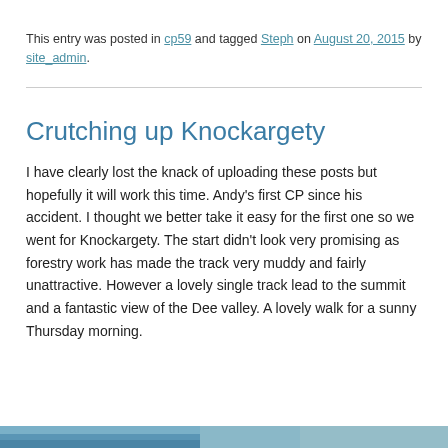This entry was posted in cp59 and tagged Steph on August 20, 2015 by site_admin.
Crutching up Knockargety
I have clearly lost the knack of uploading these posts but hopefully it will work this time. Andy’s first CP since his accident. I thought we better take it easy for the first one so we went for Knockargety. The start didn’t look very promising as forestry work has made the track very muddy and fairly unattractive. However a lovely single track lead to the summit and a fantastic view of the Dee valley. A lovely walk for a sunny Thursday morning.
[Figure (photo): Bottom strip showing outdoor/landscape photo, partially visible at bottom of page]